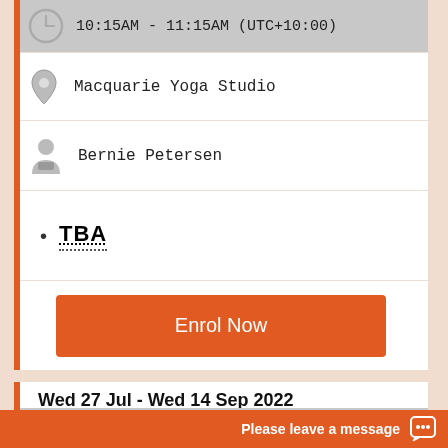10:15AM - 11:15AM (UTC+10:00)
Macquarie Yoga Studio
Bernie Petersen
TBA
Enrol Now
Wed 27 Jul - Wed 14 Sep 2022
8 sessions, 8 hours total
10AM - 11AM (UTC+10:00)
Please leave a message